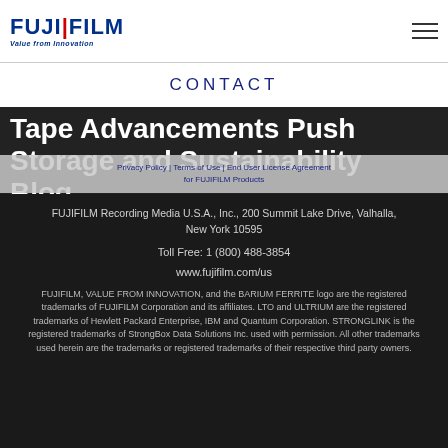[Figure (logo): FUJIFILM logo with 'Value from Innovation' tagline]
CONTACT
Tape Advancements Push Storage and Sustainability Blog
Privacy Policy | Terms of Use | End User License Agreement for FUJIFILM Products
FUJIFILM Recording Media U.S.A., Inc., 200 Summit Lake Drive, Valhalla, New York 10595
Toll Free:  1 (800) 488-3854
www.fujifilm.com/us
FUJIFILM, VALUE FROM INNOVATION, and the BARIUM FERRITE logo are the registered trademarks of FUJIFILM Corporation and its affiliates. LTO and ULTRIUM are the registered trademarks of Hewlett Packard Enterprise, IBM and Quantum Corporation. STRONGLINK is the registered trademarks of StrongBox Data Solutions Inc. used with permission. All other trademarks used herein are the trademarks or registered trademarks of their respective third party owners.